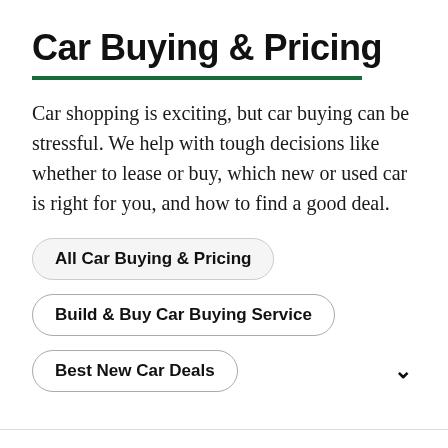Car Buying & Pricing
Car shopping is exciting, but car buying can be stressful. We help with tough decisions like whether to lease or buy, which new or used car is right for you, and how to find a good deal.
All Car Buying & Pricing
Build & Buy Car Buying Service
Best New Car Deals